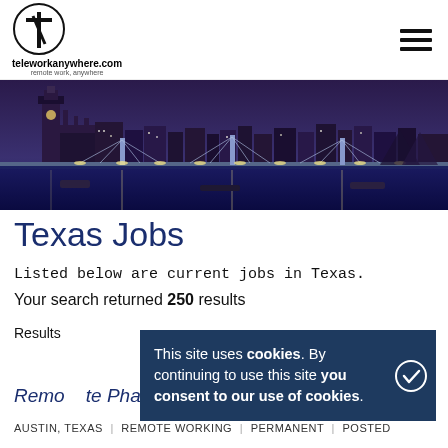[Figure (logo): teleworkanywhere.com logo with circular T icon]
[Figure (photo): London city skyline at night with Big Ben, bridges over the Thames, illuminated buildings]
Texas Jobs
Listed below are current jobs in Texas.
Your search returned 250 results
Results
This site uses cookies. By continuing to use this site you consent to our use of cookies.
Remote Pharmacy Technician
AUSTIN, TEXAS | REMOTE WORKING | PERMANENT | POSTED